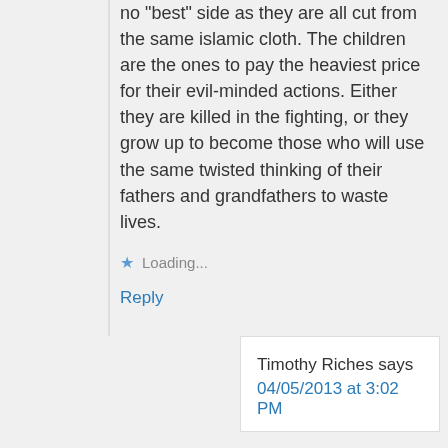no "best" side as they are all cut from the same islamic cloth. The children are the ones to pay the heaviest price for their evil-minded actions. Either they are killed in the fighting, or they grow up to become those who will use the same twisted thinking of their fathers and grandfathers to waste lives.
Loading...
Reply
Timothy Riches says
04/05/2013 at 3:02 PM